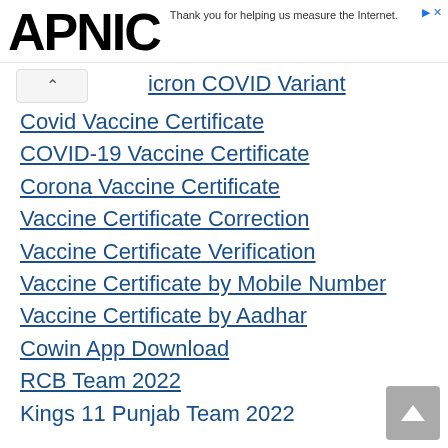APNIC — Thank you for helping us measure the Internet.
icron COVID Variant
Covid Vaccine Certificate
COVID-19 Vaccine Certificate
Corona Vaccine Certificate
Vaccine Certificate Correction
Vaccine Certificate Verification
Vaccine Certificate by Mobile Number
Vaccine Certificate by Aadhar
Cowin App Download
RCB Team 2022
Kings 11 Punjab Team 2022